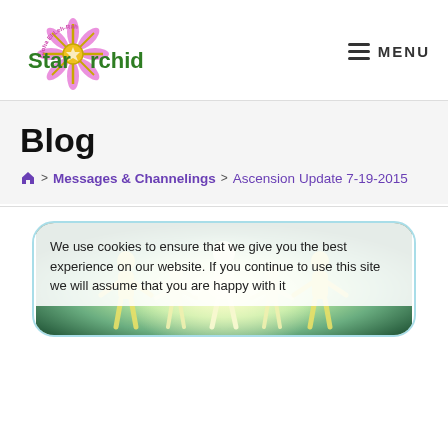[Figure (logo): Star Orchid logo with starburst/flower graphic and text 'Star Orchid', circular text reading 'Gioha El-Leh-Rah']
☰ MENU
Blog
🏠 > Messages & Channelings > Ascension Update 7-19-2015
[Figure (photo): Image inside rounded light-blue bordered card showing silhouettes of people holding hands with glowing light effect, with a cookie consent overlay text reading: 'We use cookies to ensure that we give you the best experience on our website. If you continue to use this site we will assume that you are happy with it']